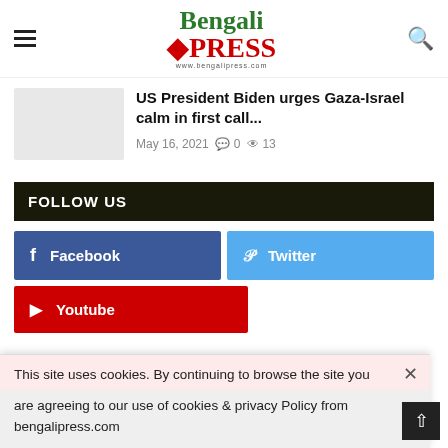Bengali PRESS — www.bengalipress.com
US President Biden urges Gaza-Israel calm in first call...
May 16, 2021  0  13
FOLLOW US
Facebook
Twitter
Youtube
This site uses cookies. By continuing to browse the site you are agreeing to our use of cookies & privacy Policy from bengalipress.com